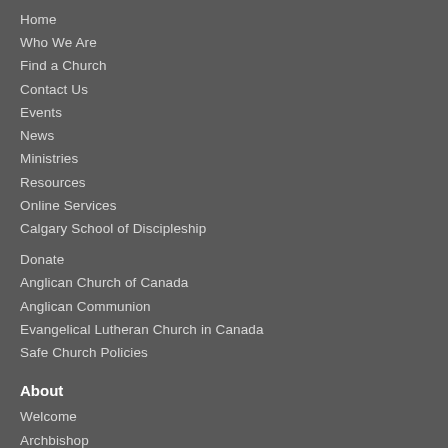Home
Who We Are
Find a Church
Contact Us
Events
News
Ministries
Resources
Online Services
Calgary School of Discipleship
Donate
Anglican Church of Canada
Anglican Communion
Evangelical Lutheran Church in Canada
Safe Church Policies
About
Welcome
Archbishop
Indigenous Bishop